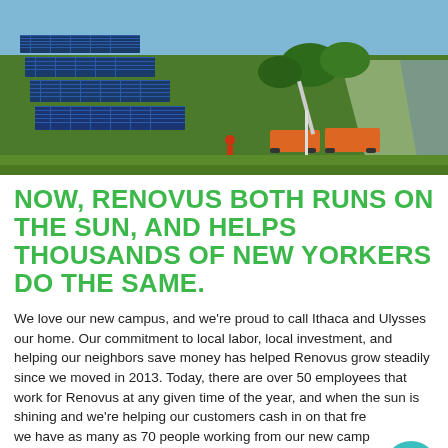[Figure (photo): Aerial view of solar panel arrays on a field next to a road, with utility trucks and workers visible below]
NOW, RENOVUS BOTH RUNS ON THE SUN, AND HELPS THOUSANDS OF NEW YORKERS DO THE SAME.
We love our new campus, and we're proud to call Ithaca and Ulysses our home. Our commitment to local labor, local investment, and helping our neighbors save money has helped Renovus grow steadily since we moved in 2013. Today, there are over 50 employees that work for Renovus at any given time of the year, and when the sun is shining and we're helping our customers cash in on that free energy, we have as many as 70 people working from our new campus. We hope that sometime you stop by and say hello! You'll always be greeted with a smile.